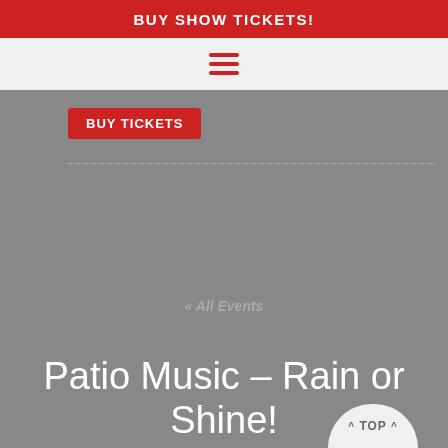BUY SHOW TICKETS!
[Figure (other): Hamburger menu icon with three red horizontal bars]
BUY TICKETS
« All Events
Patio Music – Rain or Shine!
^ TOP ^